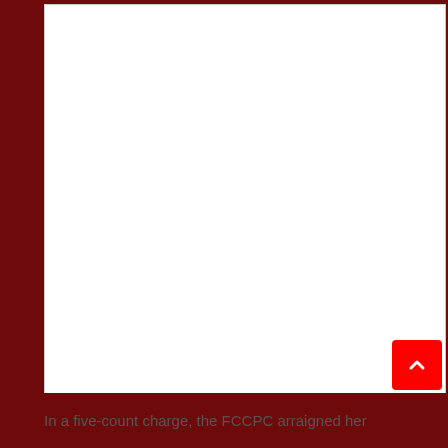[Figure (other): White blank document/image area with dark red border background on left and right sides]
In a five-count charge, the FCCPC arraigned her